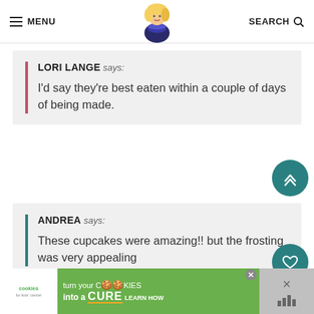MENU | [logo] | SEARCH
LORI LANGE says:
I'd say they're best eaten within a couple of days of being made.
ANDREA says:
These cupcakes were amazing!! but the frosting was very appealing
[Figure (screenshot): Teal circular scroll-to-top button with double upward chevron icon]
[Figure (screenshot): Teal circular heart/save button]
REPLY
53K
[Figure (screenshot): Share button with share icon]
[Figure (infographic): Advertisement banner: cookies for kids cancer - turn your COOKIES into a CURE LEARN HOW]